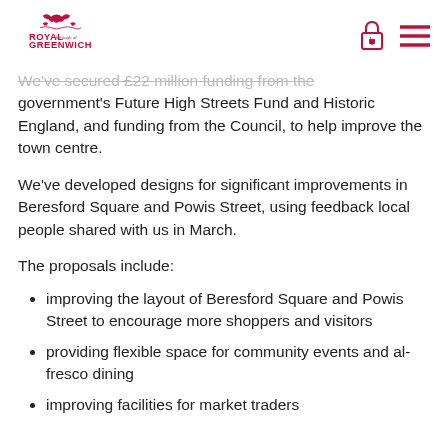Royal Borough of Greenwich
We've secured £22 million funding from the government's Future High Streets Fund and Historic England, and funding from the Council, to help improve the town centre.
We've developed designs for significant improvements in Beresford Square and Powis Street, using feedback local people shared with us in March.
The proposals include:
improving the layout of Beresford Square and Powis Street to encourage more shoppers and visitors
providing flexible space for community events and al-fresco dining
improving facilities for market traders